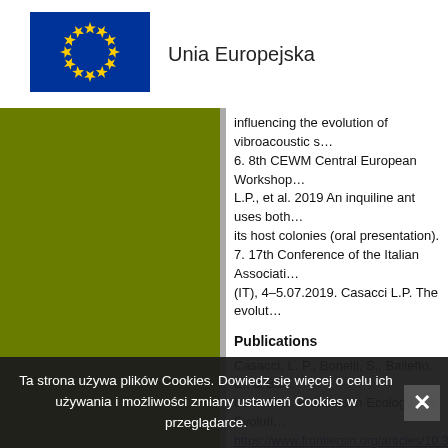[Figure (logo): EU flag logo – blue background with circle of yellow stars]
Unia Europejska
[Figure (illustration): Olive green colored left panel/sidebar]
influencing the evolution of vibroacoustic s...
6. 8th CEWM Central European Workshop... L.P., et al. 2019 An inquiline ant uses both... its host colonies (oral presentation).
7. 17th Conference of the Italian Associati... (IT), 4–5.07.2019. Casacci L.P. The evolut...
Publications
Casacci, L. P., Bonelli, S., Balletto, E., & Ba... butterflies. Frontiers in Ecology and Evoluti...
https://www.frontiersin.org/articles/10.3389/...
CONTACT
Dr.hab. Luca Pietro Casacci
E-mail: luca.casacci@unito.it
Department of Life Sciences and Sy...
Via Accademia Albertina 13,
10123 Turin
Ta strona używa plików Cookies. Dowiedz się więcej o celu ich używania i możliwości zmiany ustawień Cookies w przeglądarce.